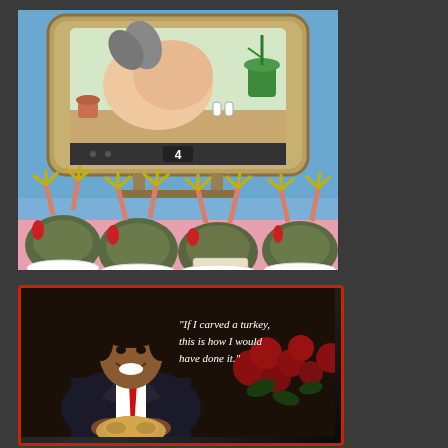[Figure (illustration): A Far Side-style cartoon by Charteris showing turkeys with their heads buried in the ground, legs sticking up in the air, watching a TV screen showing channel 4 with what appears to be a turkey being cooked/served. The scene is humorous - the turkeys are oblivious, heads in sand, while a television above them shows their fate.]
[Figure (photo): A man in a dark suit with a red tie, smiling and holding what appears to be a cooked turkey or food item. Red flowers visible in the background. White italic text overlaid reads: "If I carved a turkey, this is how I would have done it."]
"If I carved a turkey, this is how I would have done it."